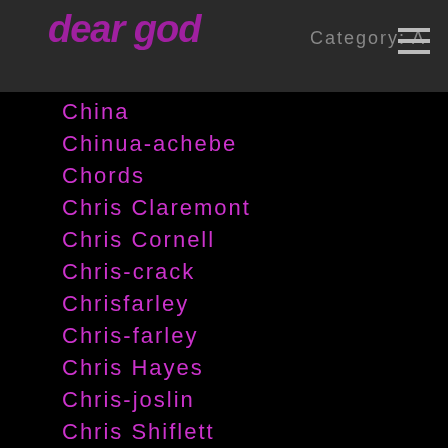dear god / Category: A
China
Chinua-achebe
Chords
Chris Claremont
Chris Cornell
Chris-crack
Chrisfarley
Chris-farley
Chris Hayes
Chris-joslin
Chris Shiflett
Chrissie-hynde
Chris-stein
Christine-cruz
Christone Ingram
Christopher-guest
Christopher-nolan